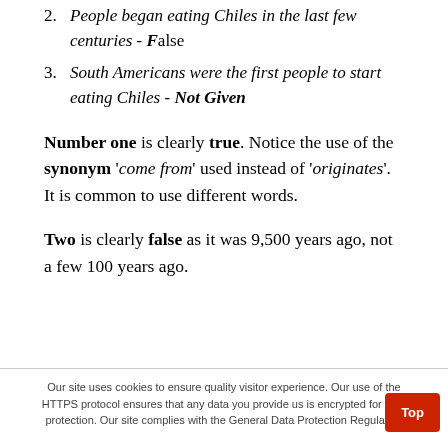2. People began eating Chiles in the last few centuries - False
3. South Americans were the first people to start eating Chiles - Not Given
Number one is clearly true. Notice the use of the synonym 'come from' used instead of 'originates'. It is common to use different words.
Two is clearly false as it was 9,500 years ago, not a few 100 years ago.
Our site uses cookies to ensure quality visitor experience. Our use of the HTTPS protocol ensures that any data you provide us is encrypted for your protection. Our site complies with the General Data Protection Regulation